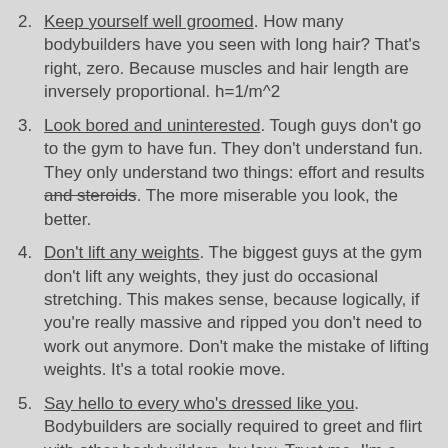Keep yourself well groomed. How many bodybuilders have you seen with long hair? That's right, zero. Because muscles and hair length are inversely proportional. h=1/m^2
Look bored and uninterested. Tough guys don't go to the gym to have fun. They don't understand fun. They only understand two things: effort and results and steroids. The more miserable you look, the better.
Don't lift any weights. The biggest guys at the gym don't lift any weights, they just do occasional stretching. This makes sense, because logically, if you're really massive and ripped you don't need to work out anymore. Don't make the mistake of lifting weights. It's a total rookie move.
Say hello to every who's dressed like you. Bodybuilders are socially required to greet and flirt with other bodybuilders, by law. Trust me, I'm a lawyer. Also, if you see any girls, you're obligated to give them a workout tip or say something at them as they walk away from you. Try this handy, patented formula: 1. Superficial compliment. 2. Weren't you on the butt